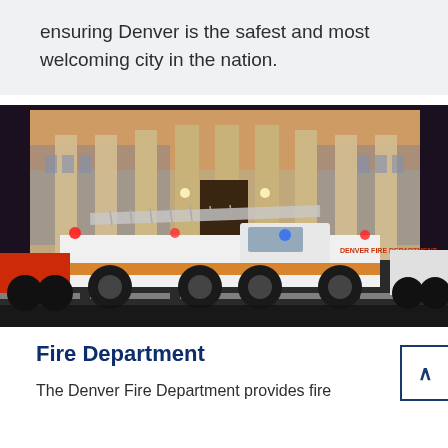ensuring Denver is the safest and most welcoming city in the nation.
[Figure (photo): Denver Fire Department ladder truck parked in front of an illuminated neoclassical government building at night, with blue and orange accent lighting on the columns. Multiple fire trucks visible on the street.]
Fire Department
The Denver Fire Department provides fire